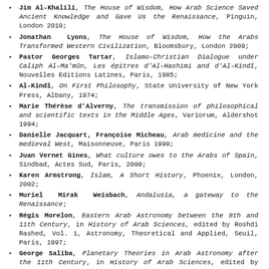Jim Al-Khalili, The House of Wisdom, How Arab Science Saved Ancient Knowledge and Gave Us the Renaissance, Pinguin, London 2010;
Jonathan Lyons, The House of Wisdom, How the Arabs Transformed Western Civilization, Bloomsbury, London 2009;
Pastor Georges Tartar, Islamo-Christian Dialogue under Caliph Al-Ma'mûn, Les épitres d'Al-Hashimi and d'Al-Kindî, Nouvelles Editions Latines, Paris, 1985;
Al-Kindî, On First Philosophy, State University of New York Press, Albany, 1974;
Marie Thérèse d'Alverny, The transmission of philosophical and scientific texts in the Middle Ages, Variorum, Aldershot 1994;
Danielle Jacquart, Françoise Micheau, Arab medicine and the medieval West, Maisonneuve, Paris 1990;
Juan Vernet Gines, What culture owes to the Arabs of Spain, Sindbad, Actes Sud, Paris, 2000;
Karen Armstrong, Islam, A Short History, Phoenix, London, 2002;
Muriel Mirak Weisbach, Andalusia, a gateway to the Renaissance;
Régis Morelon, Eastern Arab Astronomy between the 8th and 11th Century, in History of Arab Sciences, edited by Roshdi Rashed, Vol. 1, Astronomy, Theoretical and Applied, Seuil, Paris, 1997;
George Saliba, Planetary Theories in Arab Astronomy after the 11th Century, in History of Arab Sciences, edited by Roshdi Rashed, Vol. 1, Astronomy, Theoretical and Applied, Seuil, Paris, 1997;
Roshi Rashed, Geometric Optics, in History of Arab Sciences, edited by Roshdi Rashed, Vol. 2, Mathematics and physics,